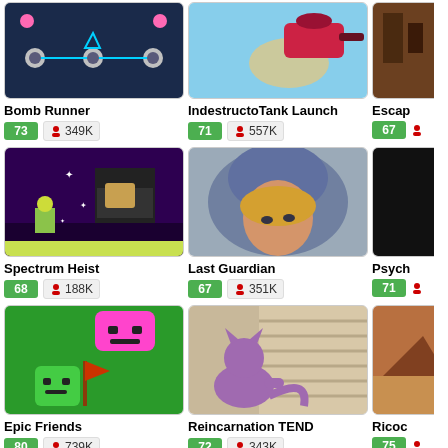[Figure (screenshot): Bomb Runner game thumbnail - dark blue space/puzzle game]
Bomb Runner
73  349K
[Figure (screenshot): IndestructoTank Launch game thumbnail - blue sky with tank]
IndestructoTank Launch
71  557K
[Figure (screenshot): Escape game thumbnail - brown wood room]
Escap
67
[Figure (screenshot): Spectrum Heist game thumbnail - purple dark platformer]
Spectrum Heist
68  188K
[Figure (screenshot): Last Guardian game thumbnail - anime character with hood]
Last Guardian
67  351K
[Figure (screenshot): Psych game thumbnail - dark]
Psych
71
[Figure (screenshot): Epic Friends game thumbnail - green background with cartoon characters]
Epic Friends
80  739K
[Figure (screenshot): Reincarnation TEND game thumbnail - cat near window]
Reincarnation TEND
72  343K
[Figure (screenshot): Ricoc game thumbnail - partly visible]
Ricoc
75